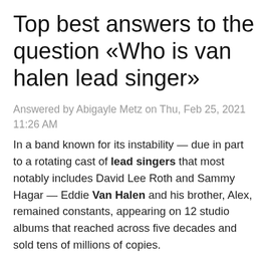Top best answers to the question «Who is van halen lead singer»
Answered by Abigayle Metz on Thu, Feb 25, 2021 11:26 AM
In a band known for its instability — due in part to a rotating cast of lead singers that most notably includes David Lee Roth and Sammy Hagar — Eddie Van Halen and his brother, Alex, remained constants, appearing on 12 studio albums that reached across five decades and sold tens of millions of copies.
FAQ